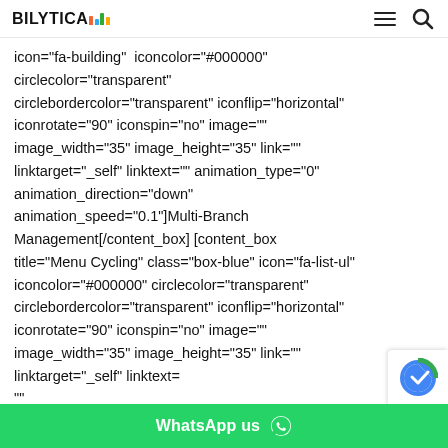BILYTICA [logo with bar chart icon] [hamburger menu] [search icon]
icon="fa-building" iconcolor="#000000" circlecolor="transparent" circlebordercolor="transparent" iconflip="horizontal" iconrotate="90" iconspin="no" image="" image_width="35" image_height="35" link="" linktarget="_self" linktext="" animation_type="0" animation_direction="down" animation_speed="0.1"]Multi-Branch Management[/content_box] [content_box title="Menu Cycling" class="box-blue" icon="fa-list-ul" iconcolor="#000000" circlecolor="transparent" circlebordercolor="transparent" iconflip="horizontal" iconrotate="90" iconspin="no" image="" image_width="35" image_height="35" link="" linktarget="_self" linktext="" animation_direction="down"